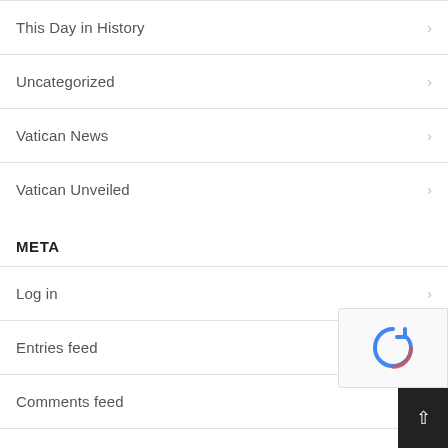This Day in History
Uncategorized
Vatican News
Vatican Unveiled
META
Log in
Entries feed
Comments feed
WordPress.org